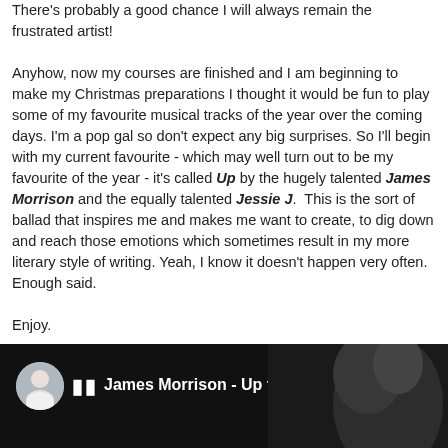There's probably a good chance I will always remain the frustrated artist!

Anyhow, now my courses are finished and I am beginning to make my Christmas preparations I thought it would be fun to play some of my favourite musical tracks of the year over the coming days. I'm a pop gal so don't expect any big surprises. So I'll begin with my current favourite - which may well turn out to be my favourite of the year - it's called Up by the hugely talented James Morrison and the equally talented Jessie J.  This is the sort of ballad that inspires me and makes me want to create, to dig down and reach those emotions which sometimes result in my more literary style of writing. Yeah, I know it doesn't happen very often. Enough said.

Enjoy.
[Figure (screenshot): YouTube-style video player thumbnail showing James Morrison - Up ft. Jessie J with a circular avatar photo of a man, play controls, white title text on dark background, and a dark figure silhouette on the right side.]